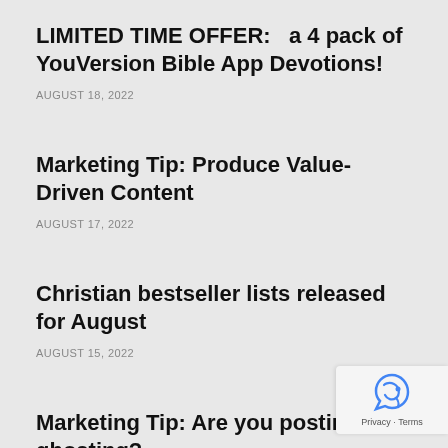LIMITED TIME OFFER:  a 4 pack of YouVersion Bible App Devotions!
AUGUST 18, 2022
Marketing Tip: Produce Value-Driven Content
AUGUST 17, 2022
Christian bestseller lists released for August
AUGUST 15, 2022
Marketing Tip: Are you postin & ghosting?
AUGUST 12, 2022